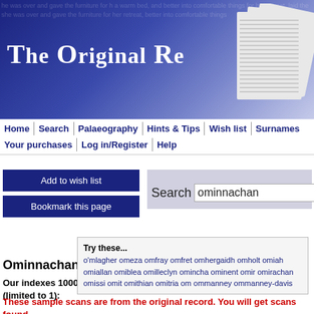[Figure (screenshot): Website header banner with dark blue/purple gradient background, title 'The Original Re' in large white serif font, with newspaper images in top right corner]
The Original Re
Home | Search | Palaeography | Hints & Tips | Wish list | Surnames
Your purchases | Log in/Register | Help
Add to wish list
Bookmark this page
Search ominnachan
Ominnachan Surname Ancestry Results
Our indexes 1000-1999 include entries for the spelling 'ominnachan' (limited to 1):
Try these...
o'mlagher omeza omfray omfret omhergaidh omholt omiah omiallan omiblea omilleclyn omincha ominent omir omirachan omissi omit omithian omitria om ommanney ommanney-davis
These sample scans are from the original record. You will get scans found.